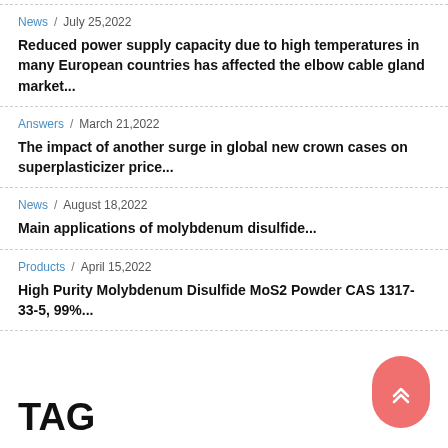News / July 25,2022 — Reduced power supply capacity due to high temperatures in many European countries has affected the elbow cable gland market...
Answers / March 21,2022 — The impact of another surge in global new crown cases on superplasticizer price...
News / August 18,2022 — Main applications of molybdenum disulfide...
Products / April 15,2022 — High Purity Molybdenum Disulfide MoS2 Powder CAS 1317-33-5, 99%...
TAG